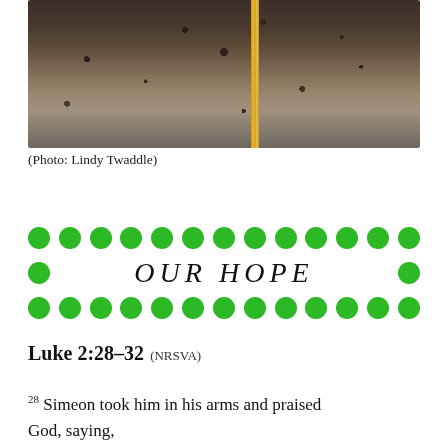[Figure (photo): Gravel or railroad track surface with a vertical golden/yellow wooden post or bar in the center, photographed from above or at an angle. Dark earthy tones throughout.]
(Photo: Lindy Twaddle)
[Figure (infographic): Three rows of green filled circles (dots) arranged decoratively. The middle row has two dots on either end with italic spaced text 'OUR HOPE' in the center.]
Luke 2:28–32 (NRSVA)
28 Simeon took him in his arms and praised God, saying,